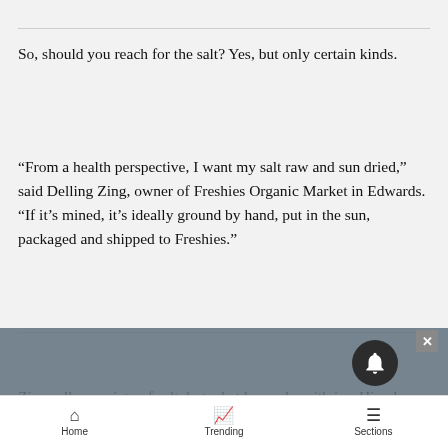So, should you reach for the salt? Yes, but only certain kinds.
“From a health perspective, I want my salt raw and sun dried,” said Delling Zing, owner of Freshies Organic Market in Edwards. “If it’s mined, it’s ideally ground by hand, put in the sun, packaged and shipped to Freshies.”
Zing sells a variety of salt, but what he cooks with is a Himalayan crystal salt from Evolution Salt Co.
Home  Trending  Sections